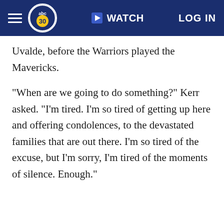abc30 WATCH LOG IN
Uvalde, before the Warriors played the Mavericks.
"When are we going to do something?" Kerr asked. "I'm tired. I'm so tired of getting up here and offering condolences, to the devastated families that are out there. I'm so tired of the excuse, but I'm sorry, I'm tired of the moments of silence. Enough."